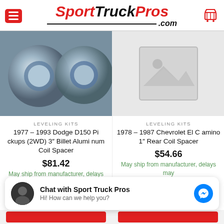SportTruckPros.com
[Figure (photo): Two silver billet aluminum coil spacers side by side on left product card]
[Figure (photo): Placeholder image (no photo available) for right product card]
LEVELING KITS
1977 – 1993 Dodge D150 Pickups (2WD) 3" Billet Aluminum Coil Spacer
$81.42
May ship from manufacturer, delays may
LEVELING KITS
1978 – 1987 Chevrolet El Camino 1" Rear Coil Spacer
$54.66
May ship from manufacturer, delays may
Chat with Sport Truck Pros
Hi! How can we help you?